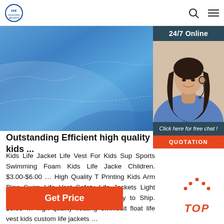[Figure (logo): HUAXING SPORTS logo — blue circle with text]
[Figure (photo): Close-up of blue swimwear/life jacket fabric]
[Figure (photo): 24/7 Online chat widget with woman wearing headset, 'Click here for free chat!' text, and orange QUOTATION button]
Outstanding Efficient high quality kids ...
Kids Life Jacket Life Vest For Kids Sup Sports Swimming Foam Kids Life Jacke Children. $3.00-$6.00 ... High Quality T Printing Kids Arm Ring Swim Life Vest Safety Life Jackets Light Weight Kids Jumper for Sale. Ready to Ship. $3.85 ... high quality floating swimsuit float life vest kids custom life jackets ...
[Figure (other): Orange 'Get Price' button]
[Figure (other): Red 'TOP' scroll-to-top button with upward arrow icon]